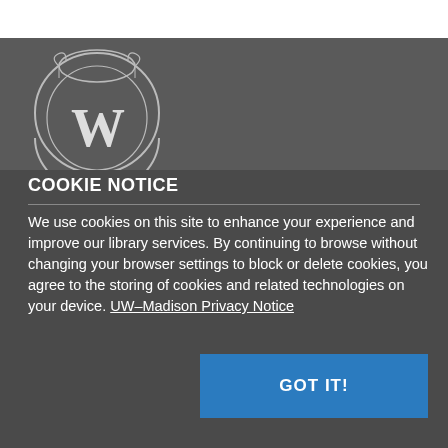[Figure (logo): University of Wisconsin–Madison crest/shield logo with W, white line art on dark background]
COOKIE NOTICE
We use cookies on this site to enhance your experience and improve our library services. By continuing to browse without changing your browser settings to block or delete cookies, you agree to the storing of cookies and related technologies on your device. UW–Madison Privacy Notice
Accessibility
Copyright Statement
Policies
UW–Madison Privacy Notice
GOT IT!